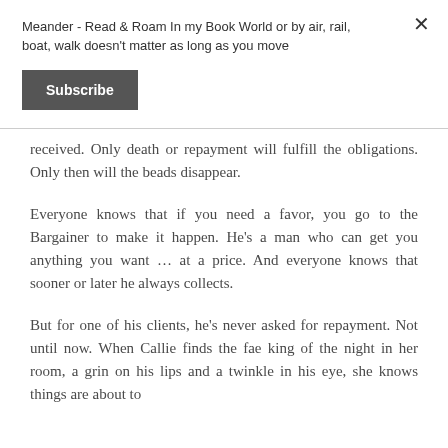Meander - Read & Roam In my Book World or by air, rail, boat, walk doesn't matter as long as you move
Subscribe
received. Only death or repayment will fulfill the obligations. Only then will the beads disappear.
Everyone knows that if you need a favor, you go to the Bargainer to make it happen. He's a man who can get you anything you want … at a price. And everyone knows that sooner or later he always collects.
But for one of his clients, he's never asked for repayment. Not until now. When Callie finds the fae king of the night in her room, a grin on his lips and a twinkle in his eye, she knows things are about to